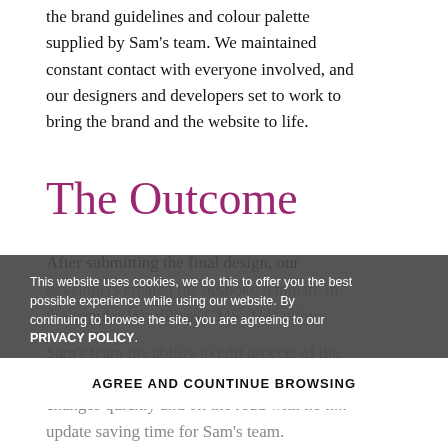trendy, functional and fresh website following the brand guidelines and colour palette supplied by Sam's team. We maintained constant contact with everyone involved, and our designers and developers set to work to bring the brand and the website to life.
The Outcome
After submitting the final design, our developers created the bespoke template in the popular WordPress CMS. This allows Sam's team the ability to edit aspects of the website in-house so that they can make changes quickly and on the road with no need to contact us for every minor update saving time for Sam's team.
This website uses cookies, we do this to offer you the best possible experience while using our website. By continuing to browse the site, you are agreeing to our PRIVACY POLICY.
AGREE AND COUNTINUE BROWSING